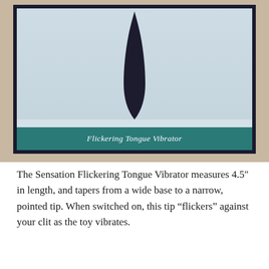[Figure (photo): A photo of a product box for a Flickering Tongue Vibrator. The box has a dark navy border, a light blue-gray background showing the silhouette of a dark elongated product (tongue vibrator) that tapers to a point at the top. A teal/dark green band near the bottom of the box reads 'Flickering Tongue Vibrator' in white italic text. The box is resting on a wooden surface.]
The Sensation Flickering Tongue Vibrator measures 4.5″ in length, and tapers from a wide base to a narrow, pointed tip. When switched on, this tip “flickers” against your clit as the toy vibrates.